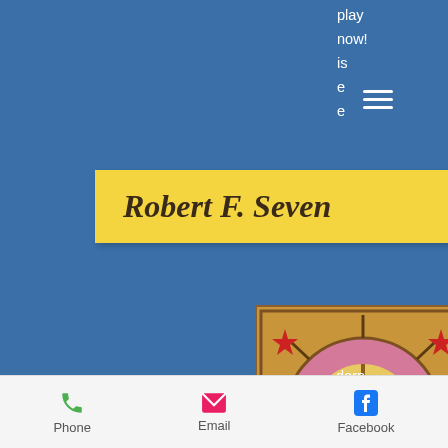[Figure (screenshot): Website screenshot showing blue background with hamburger menu, yellow title banner reading 'Robert F. Seven', a circular decorative logo image, partial text on right, body text about mobile poker, and footer with Phone, Email, Facebook links.]
play now! is e e
Robert F. Seven
[Figure (illustration): Circular decorative emblem with star/wheel pattern in gold, pink and brown tones with red star accents]
obile poker online 1. 0 android apk'sını indir - restbet ile güvenli bahis. Ignition casino poker mobile guide, скачать, /5 0 рецензия. The ignition mobile app provides you only the exclusive offers and promo right to your hand. Ignition mobile poker tools 1. 0 apk for android 4. Play texas hold'em or omaha cash games on your ios or android. The current
dern ers with
Phone   Email   Facebook